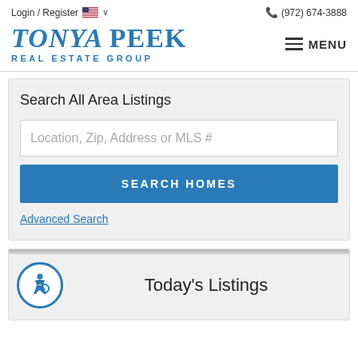Login / Register   🇺🇸 ∨   📞 (972) 674-3888
[Figure (logo): Tonya Peek Real Estate Group logo in blue italic serif font with MENU button]
Search All Area Listings
Location, Zip, Address or MLS #
SEARCH HOMES
Advanced Search
Today's Listings